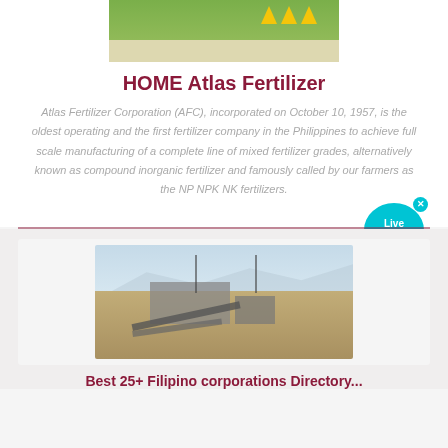[Figure (photo): Top photo of yellow triangle-shaped fertilizer bags on grass/concrete]
HOME Atlas Fertilizer
Atlas Fertilizer Corporation (AFC), incorporated on October 10, 1957, is the oldest operating and the first fertilizer company in the Philippines to achieve full scale manufacturing of a complete line of mixed fertilizer grades, alternatively known as compound inorganic fertilizer and famously called by our farmers as the NP NPK NK fertilizers.
[Figure (photo): Industrial plant / quarrying facility with conveyor belts and machinery, mountains in background]
Best 25+ Filipino corporations Directory...